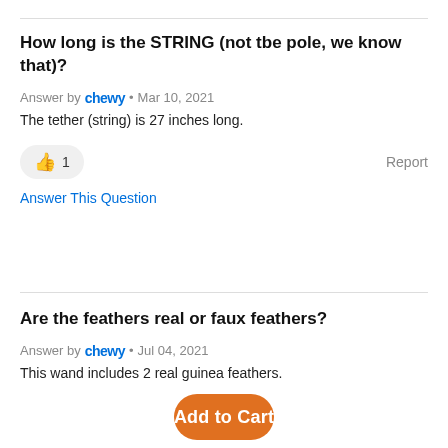How long is the STRING (not tbe pole, we know that)?
Answer by chewy • Mar 10, 2021
The tether (string) is 27 inches long.
👍 1    Report
Answer This Question
Are the feathers real or faux feathers?
Answer by chewy • Jul 04, 2021
This wand includes 2 real guinea feathers.
Add to Cart